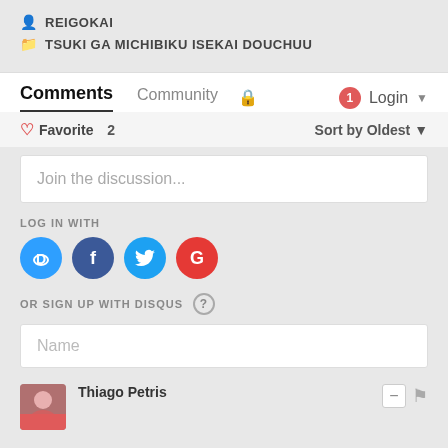REIGOKAI
TSUKI GA MICHIBIKU ISEKAI DOUCHUU
Comments  Community  Login
Favorite 2    Sort by Oldest
Join the discussion...
LOG IN WITH
[Figure (other): Social login icons: Disqus (D), Facebook (f), Twitter (bird), Google (G)]
OR SIGN UP WITH DISQUS ?
Name
Thiago Petris